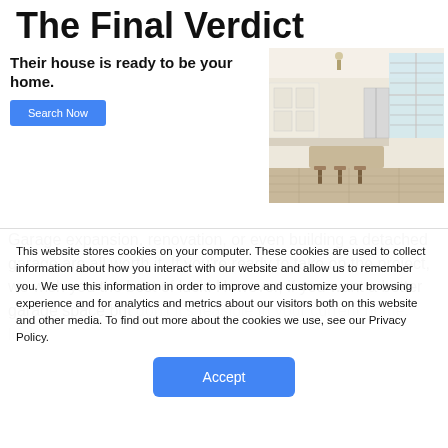The Final Verdict
Their house is ready to be your home.
[Figure (photo): Interior photo of a modern home kitchen with white cabinets, bar stools, and large windows]
Garage expansion, renovation, or even building a detached garage are all worth it. If you're ready to take on the project, we wish you the best of luck! However, if you want a better garage space but don't it's feasible in your current home, look
This website stores cookies on your computer. These cookies are used to collect information about how you interact with our website and allow us to remember you. We use this information in order to improve and customize your browsing experience and for analytics and metrics about our visitors both on this website and other media. To find out more about the cookies we use, see our Privacy Policy.